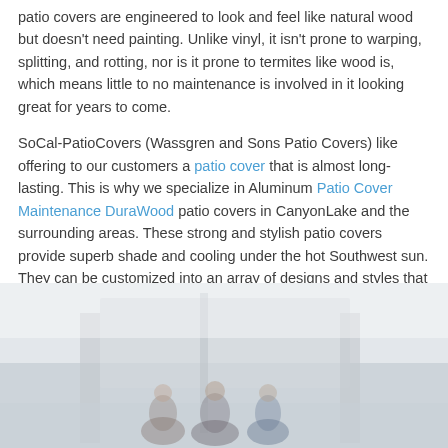patio covers are engineered to look and feel like natural wood but doesn't need painting. Unlike vinyl, it isn't prone to warping, splitting, and rotting, nor is it prone to termites like wood is, which means little to no maintenance is involved in it looking great for years to come.
SoCal-PatioCovers (Wassgren and Sons Patio Covers) like offering to our customers a patio cover that is almost long-lasting. This is why we specialize in Aluminum Patio Cover Maintenance DuraWood patio covers in CanyonLake and the surrounding areas. These strong and stylish patio covers provide superb shade and cooling under the hot Southwest sun. They can be customized into an array of designs and styles that are sure to beautify your home.
Hello, I am Paul and these are my sons. We look forward to building your patio cover!
[Figure (photo): Blurred outdoor photo showing three people (Paul and his sons) standing together, likely in front of a patio structure. The image is partially out of focus with a light, airy background.]